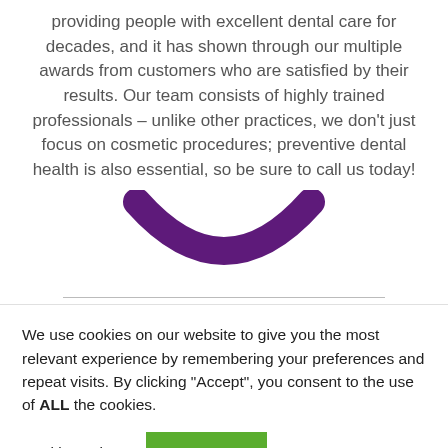providing people with excellent dental care for decades, and it has shown through our multiple awards from customers who are satisfied by their results. Our team consists of highly trained professionals – unlike other practices, we don't just focus on cosmetic procedures; preventive dental health is also essential, so be sure to call us today!
[Figure (illustration): Purple smile/crescent shape logo]
We use cookies on our website to give you the most relevant experience by remembering your preferences and repeat visits. By clicking "Accept", you consent to the use of ALL the cookies.
Cookie settings
ACCEPT